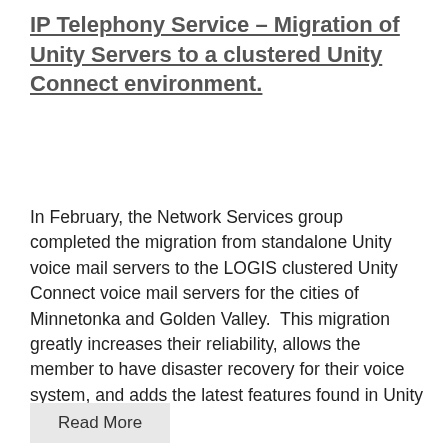IP Telephony Service – Migration of Unity Servers to a clustered Unity Connect environment.
In February, the Network Services group completed the migration from standalone Unity voice mail servers to the LOGIS clustered Unity Connect voice mail servers for the cities of Minnetonka and Golden Valley.  This migration greatly increases their reliability, allows the member to have disaster recovery for their voice system, and adds the latest features found in Unity Connect.